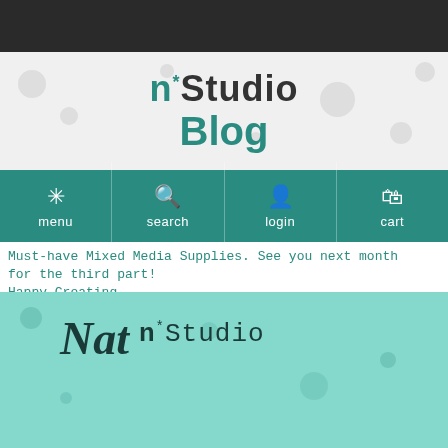n*Studio Blog
[Figure (screenshot): Navigation bar with menu, search, login, cart icons on teal background]
Must-have Mixed Media Supplies. See you next month for the third part!
Happy Creating
[Figure (logo): Nat signature with n*Studio text on teal background]
Reveal Comments (5)